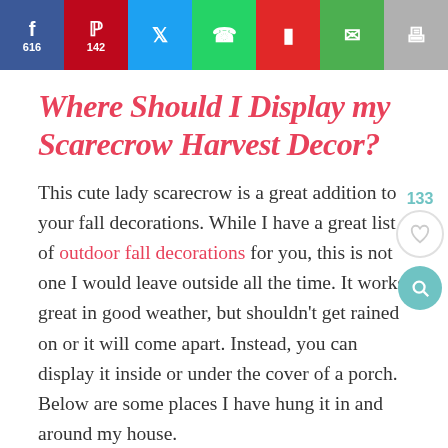[Figure (infographic): Social share bar with buttons: Facebook (616), Pinterest (142), Twitter, WhatsApp, Flipboard, Email, Print]
Where Should I Display my Scarecrow Harvest Decor?
This cute lady scarecrow is a great addition to your fall decorations. While I have a great list of outdoor fall decorations for you, this is not one I would leave outside all the time. It works great in good weather, but shouldn't get rained on or it will come apart. Instead, you can display it inside or under the cover of a porch. Below are some places I have hung it in and around my house.